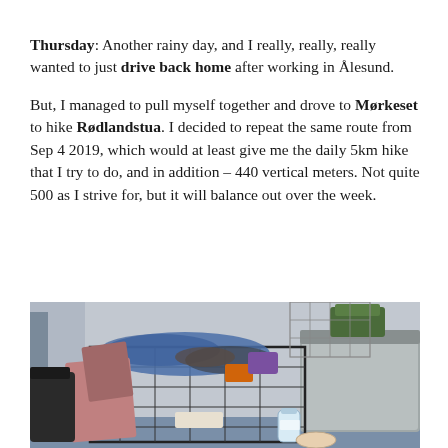Thursday: Another rainy day, and I really, really, really wanted to just drive back home after working in Ålesund.
But, I managed to pull myself together and drove to Mørkeset to hike Rødlandstua. I decided to repeat the same route from Sep 4 2019, which would at least give me the daily 5km hike that I try to do, and in addition – 440 vertical meters. Not quite 500 as I strive for, but it will balance out over the week.
[Figure (photo): Interior of a vehicle showing a large black wire crate loaded with clothes and gear, a grey storage bin to the right, a water bottle on the floor, and various bags and items packed inside.]